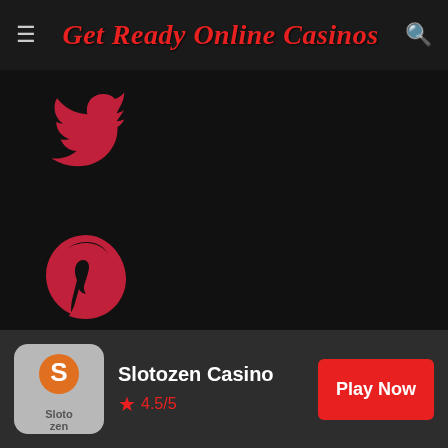Get Ready Online Casinos
[Figure (logo): Twitter bird icon in red/crimson color]
[Figure (logo): Pinterest P icon in red/crimson color]
affpapa.com
seal of compliance
[Figure (logo): GPWA Approved Portal badge with green background and gold border, with 'CLICK TO VERIFY' tab on right side]
[Figure (logo): Red circle with up arrow icon (scroll to top button)]
[Figure (logo): Slotozen Casino logo - orange S on grey rounded square background]
Slotozen Casino
4.5/5
Play Now